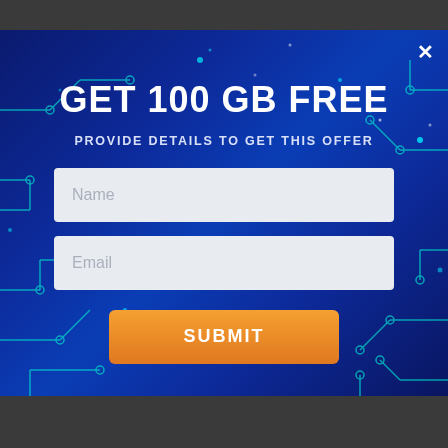[Figure (screenshot): Dark background with blurred photo visible at top and bottom edges]
GET 100 GB FREE
PROVIDE DETAILS TO GET THIS OFFER
Name
Email
SUBMIT